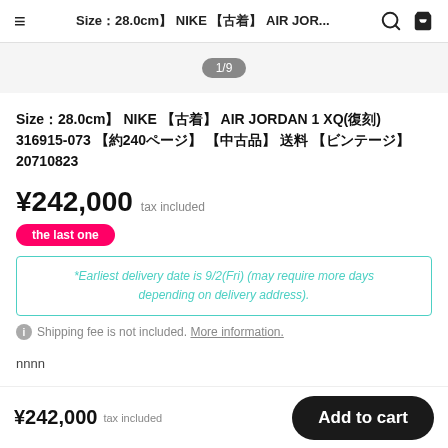Size：28.0cm】 NIKE 【古着】 AIR JOR... 🔍 🛒
1/9
Size：28.0cm】 NIKE 【古着】 AIR JORDAN 1 XQ(復刻) 316915-073 【約240ページ】 【中古品】 送料 【ビンテージ】 20710823
¥242,000  tax included
the last one
*Earliest delivery date is 9/2(Fri) (may require more days depending on delivery address).
Shipping fee is not included. More information.
nnnn
¥242,000  tax included   Add to cart